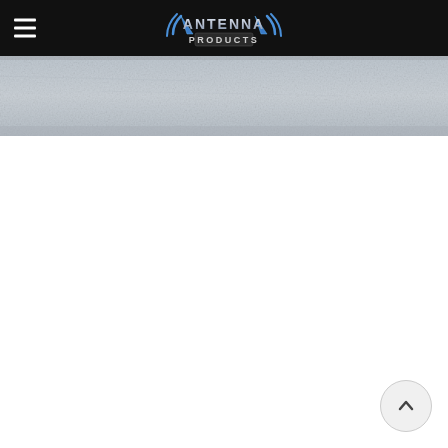Antenna Products
[Figure (photo): Gray textured background banner image (marble/concrete texture)]
[Figure (other): Back to top button - circular button with upward chevron arrow in bottom right corner]